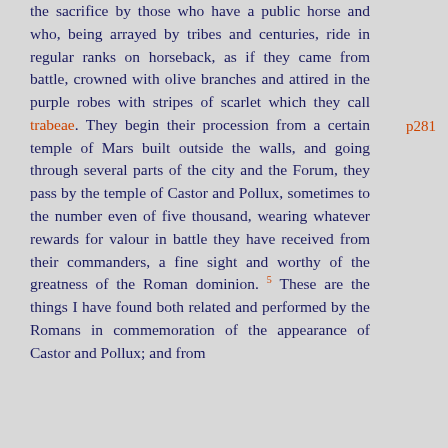the sacrifice by those who have a public horse and who, being arrayed by tribes and centuries, ride in regular ranks on horseback, as if they came from battle, crowned with olive branches and attired in the purple robes with stripes of scarlet which they call trabeae. They begin their procession from a certain temple of Mars built outside the walls, and going through several parts of the city and the Forum, they pass by the temple of Castor and Pollux, sometimes to the number even of five thousand, wearing whatever rewards for valour in battle they have received from their commanders, a fine sight and worthy of the greatness of the Roman dominion. 5 These are the things I have found both related and performed by the Romans in commemoration of the appearance of Castor and Pollux; and from
p281